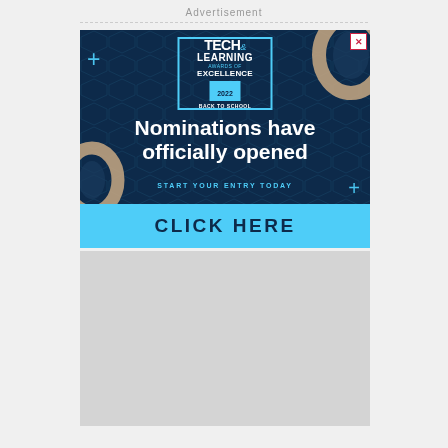Advertisement
[Figure (illustration): Tech & Learning Awards of Excellence 2022 Back to School advertisement banner. Dark navy blue background with cyan/light blue accents, decorative geometric shapes (rings, plus signs), a logo badge for Tech & Learning Awards of Excellence 2022 Back to School, large white text reading 'Nominations have officially opened', cyan text 'START YOUR ENTRY TODAY', and a cyan bottom bar with dark text 'CLICK HERE'.]